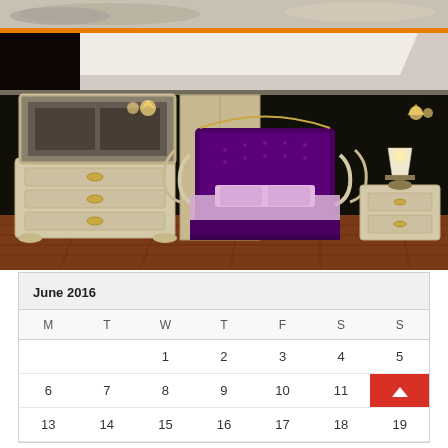[Figure (photo): Luxury bedroom furniture set with ornate cream and gold bed frame with purple velvet headboard and pink bedding, matching dresser with mirror, nightstand, wall sconces, and table lamps against dark walls with hardwood floor. Small strip of pillows/cushions visible at top.]
| M | T | W | T | F | S | S |
| --- | --- | --- | --- | --- | --- | --- |
|  |  | 1 | 2 | 3 | 4 | 5 |
| 6 | 7 | 8 | 9 | 10 | 11 | 12↑ |
| 13 | 14 | 15 | 16 | 17 | 18 | 19 |